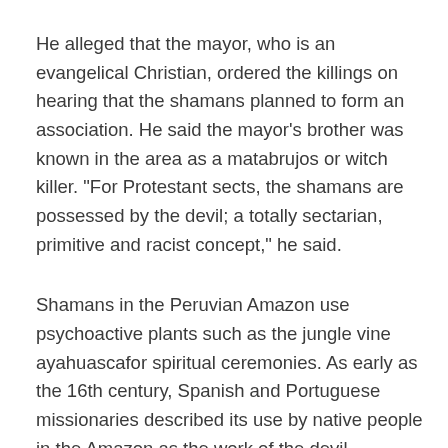He alleged that the mayor, who is an evangelical Christian, ordered the killings on hearing that the shamans planned to form an association. He said the mayor's brother was known in the area as a matabrujos or witch killer. "For Protestant sects, the shamans are possessed by the devil; a totally sectarian, primitive and racist concept," he said.
Shamans in the Peruvian Amazon use psychoactive plants such as the jungle vine ayahuascafor spiritual ceremonies. As early as the 16th century, Spanish and Portuguese missionaries described its use by native people in the Amazon as the work of the devil.
"Until now the death of 14 curanderos who are the depositaries of Amazon knowledge wasn't